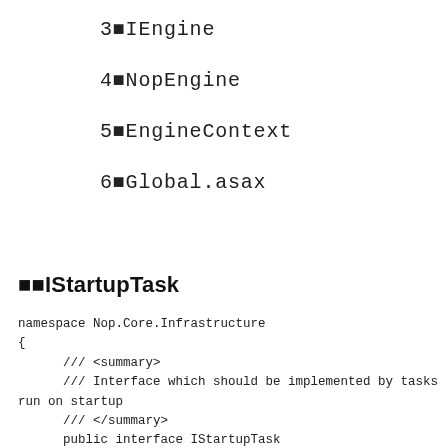3 IEngine
4 NopEngine
5 EngineContext
6 Global.asax
■■IStartupTask
namespace Nop.Core.Infrastructure
{
      /// <summary>
      /// Interface which should be implemented by tasks run on startup
      /// </summary>
      public interface IStartupTask
      {
            /// <summary>
            /// Execute task